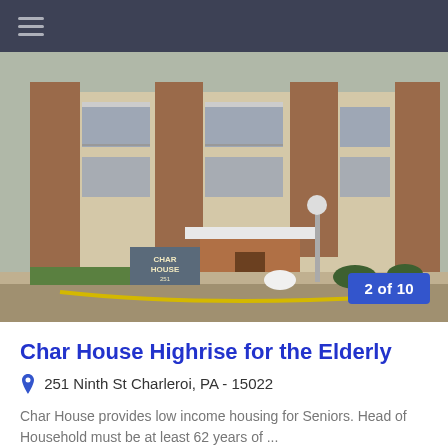≡
[Figure (photo): Exterior photo of Char House Highrise building showing multi-story brick and cream apartment building with balconies, a covered entrance, lamp posts, and a sign reading CHAR HOUSE 251. Badge overlay reads '2 of 10'.]
Char House Highrise for the Elderly
251 Ninth St Charleroi, PA - 15022
Char House provides low income housing for Seniors. Head of Household must be at least 62 years of ...
1 bdrm     Senior Housing